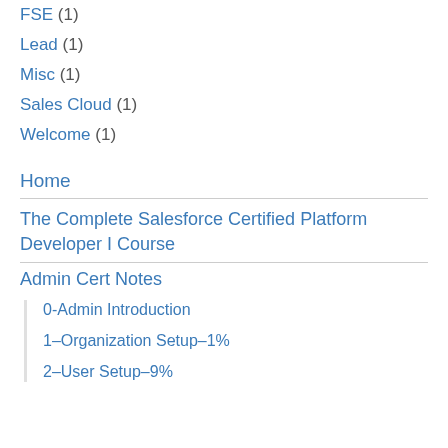FSE (1)
Lead (1)
Misc (1)
Sales Cloud (1)
Welcome (1)
Home
The Complete Salesforce Certified Platform Developer I Course
Admin Cert Notes
0-Admin Introduction
1–Organization Setup–1%
2–User Setup–9%